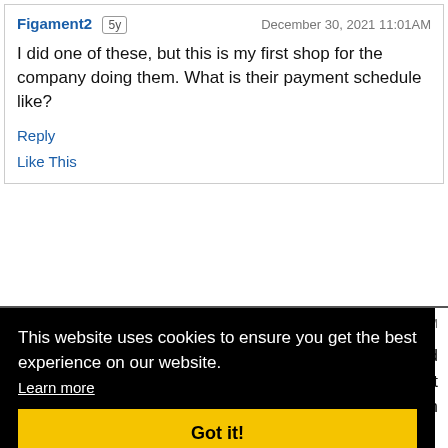Figament2 | 5y | December 30, 2021 11:01AM
I did one of these, but this is my first shop for the company doing them. What is their payment schedule like?
Reply
Like This
15PM
paid
that
1 from
Reply
This website uses cookies to ensure you get the best experience on our website.
Learn more
Got it!